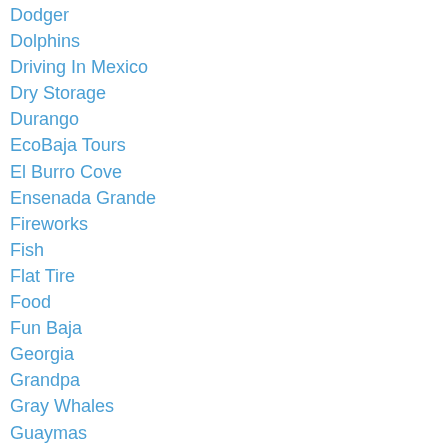Dodger
Dolphins
Driving In Mexico
Dry Storage
Durango
EcoBaja Tours
El Burro Cove
Ensenada Grande
Fireworks
Fish
Flat Tire
Food
Fun Baja
Georgia
Grandpa
Gray Whales
Guaymas
Gulf Of California
Haulout
Hermosillo
Hoffmaster State Park